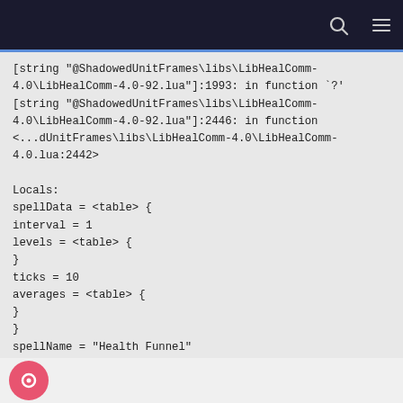[string "@ShadowedUnitFrames\libs\LibHealComm-4.0\LibHealComm-4.0-92.lua"]:1993: in function `?'
[string "@ShadowedUnitFrames\libs\LibHealComm-4.0\LibHealComm-4.0-92.lua"]:2446: in function
<...dUnitFrames\libs\LibHealComm-4.0\LibHealComm-4.0.lua:2442>
Locals:
spellData = <table> {
interval = 1
levels = <table> {
}
ticks = 10
averages = <table> {
}
}
spellName = "Health Funnel"